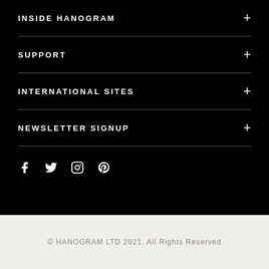INSIDE HANOGRAM
SUPPORT
INTERNATIONAL SITES
NEWSLETTER SIGNUP
[Figure (other): Social media icons: Facebook, Twitter, Instagram, Pinterest]
© HANOGRAM LTD 2021. All Rights Reserved